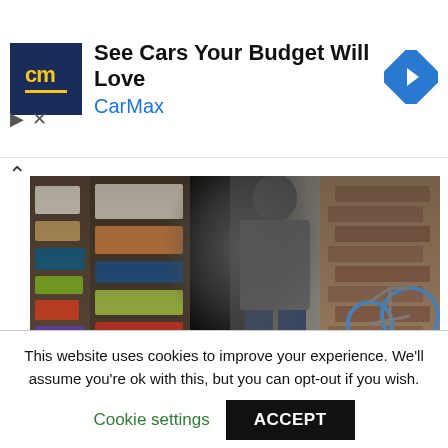[Figure (other): CarMax advertisement banner with logo and headline 'See Cars Your Budget Will Love']
[Figure (photo): Person in grey hoodie and jeans standing in front of a wall covered in stickers and posters, with a bicycle on the right]
A few weeks ago we published the first part of an interesting 'Breaking into the music industry' masterclass given by Nick Halkes (XL Recordings) at
This website uses cookies to improve your experience. We'll assume you're ok with this, but you can opt-out if you wish.